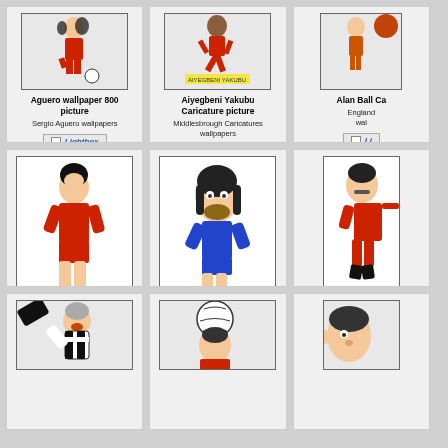[Figure (illustration): Sergio Aguero caricature in red football kit dribbling]
Aguero wallpaper 800 picture
Sergio Aguero wallpapers
[Figure (illustration): Aiyegbeni Yakubu caricature with yellow label]
Aiyegbeni Yakubu Caricature picture
Middlesbrough Caricatures wallpapers
[Figure (illustration): Alan Ball caricature partially visible, football]
Alan Ball Ca...
England... wal...
[Figure (illustration): Alan Hansen caricature in red Liverpool kit kicking ball]
Alan Hansen Caricature picture
Liverpool Caricatures wallpapers
[Figure (illustration): Alan Hudson caricature in blue Chelsea kit dribbling a ball]
alan hudson Caricature picture
Chelsea Caricatures wallpapers
[Figure (illustration): Alan Kennedy caricature in red Liverpool kit, partially visible]
Alan Kenne... pi...
Liverpoo... wal...
[Figure (illustration): Caricature of footballer in white/black kit shouting, partially visible]
[Figure (illustration): Caricature of footballer heading ball, partially visible]
[Figure (illustration): Caricature face partially visible on right]